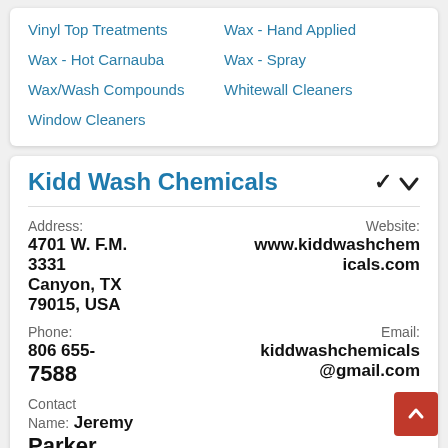Vinyl Top Treatments
Wax - Hand Applied
Wax - Hot Carnauba
Wax - Spray
Wax/Wash Compounds
Whitewall Cleaners
Window Cleaners
Kidd Wash Chemicals
Address: 4701 W. F.M. 3331 Canyon, TX 79015, USA
Website: www.kiddwashchemicals.com
Phone: 806 655-7588
Email: kiddwashchemicals@gmail.com
Contact Name: Jeremy Parker
Toll free: 800 –